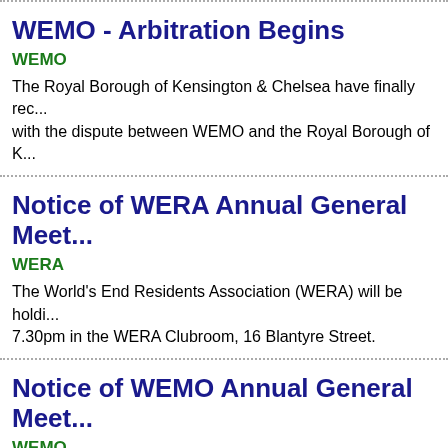WEMO - Arbitration Begins
WEMO
The Royal Borough of Kensington & Chelsea have finally rec... with the dispute between WEMO and the Royal Borough of K...
Notice of WERA Annual General Meet...
WERA
The World's End Residents Association (WERA) will be holdi... 7.30pm in the WERA Clubroom, 16 Blantyre Street.
Notice of WEMO Annual General Meet...
WEMO
The World's End Management Organisation will be holding it... 7.30pm in the WERA Clubroom.